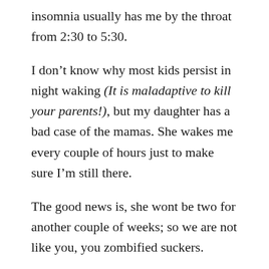insomnia usually has me by the throat from 2:30 to 5:30.
I don’t know why most kids persist in night waking (It is maladaptive to kill your parents!), but my daughter has a bad case of the mamas. She wakes me every couple of hours just to make sure I’m still there.
The good news is, she wont be two for another couple of weeks; so we are not like you, you zombified suckers.
At this point you should ask if my child sleeps in a crib and anticipate that she doesn’t. Baby A came into our bed during her first sleep regression and has been there ever since. I had reasons: It was October and she